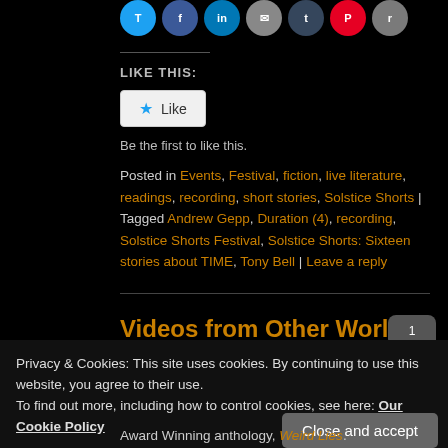[Figure (other): Row of social sharing icon circles: Twitter, Facebook, LinkedIn, Email, Tumblr, Pinterest, Reddit]
LIKE THIS:
[Figure (other): Like button widget with blue star icon and 'Like' text]
Be the first to like this.
Posted in Events, Festival, fiction, live literature, readings, recording, short stories, Solstice Shorts | Tagged Andrew Gepp, Duration (4), recording, Solstice Shorts Festival, Solstice Shorts: Sixteen stories about TIME, Tony Bell | Leave a reply
Videos from Other Worlds
Privacy & Cookies: This site uses cookies. By continuing to use this website, you agree to their use.
To find out more, including how to control cookies, see here: Our Cookie Policy
Award Winning anthology, Weird Lies.